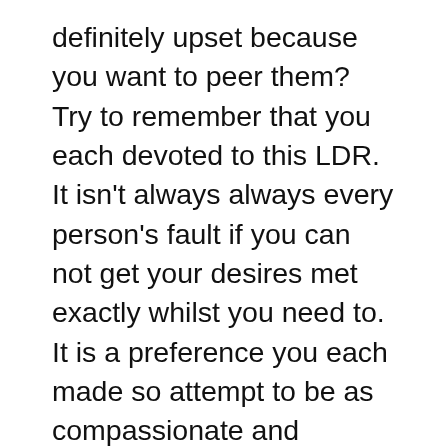definitely upset because you want to peer them? Try to remember that you each devoted to this LDR. It isn't always always every person's fault if you can not get your desires met exactly whilst you need to. It is a preference you each made so attempt to be as compassionate and respectful with each other as feasible. The net can simplest stand in for proper intimacy up to a sure point. On the other hand – if you met a person whom you adore deeply and that love could be very mutual, then time can bear much in exchange for the first rate reward on the opposite aspect.
Communication. Communication is specifically important in LDRs. You will ought to cross the more mile to talk with clarity